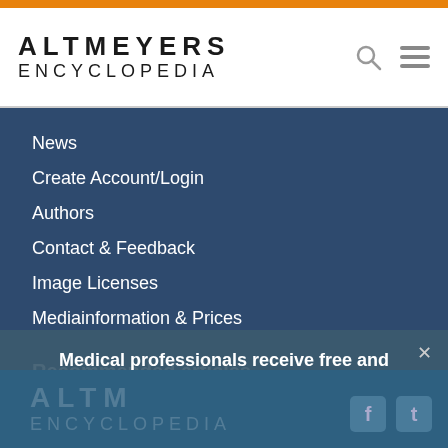ALTMEYERS ENCYCLOPEDIA
News
Create Account/Login
Authors
Contact & Feedback
Image Licenses
Mediainformation & Prices
Recommended articles
Erythem
Erythema migrans
Exanthem
Pruritus
Seborrhoisches Ekzem
Ulcus
Medical professionals receive free and unrestricted access to all articles and images.
Create your Account now!